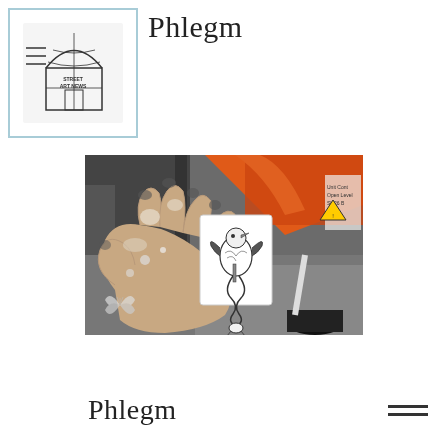Phlegm
[Figure (logo): Street Art News logo — a dome/globe building with the text STREET ART NEWS inside]
[Figure (photo): A hand with paint-covered fingers holding a small white card featuring a black-and-white illustration of a fantastical bird/serpent creature. The background shows an outdoor street setting with orange equipment and a bucket.]
Phlegm